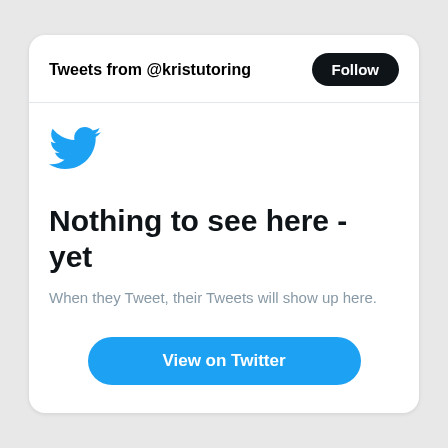Tweets from @kristutoring
[Figure (logo): Twitter bird logo in blue]
Nothing to see here - yet
When they Tweet, their Tweets will show up here.
View on Twitter